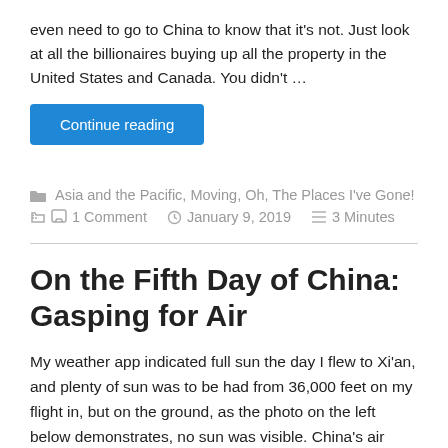even need to go to China to know that it's not. Just look at all the billionaires buying up all the property in the United States and Canada. You didn't …
Continue reading
Asia and the Pacific, Moving, Oh, The Places I've Gone!
1 Comment   January 9, 2019   3 Minutes
On the Fifth Day of China: Gasping for Air
My weather app indicated full sun the day I flew to Xi'an, and plenty of sun was to be had from 36,000 feet on my flight in, but on the ground, as the photo on the left below demonstrates, no sun was visible. China's air quality issue is well known but until you are in it, you …
Continue reading